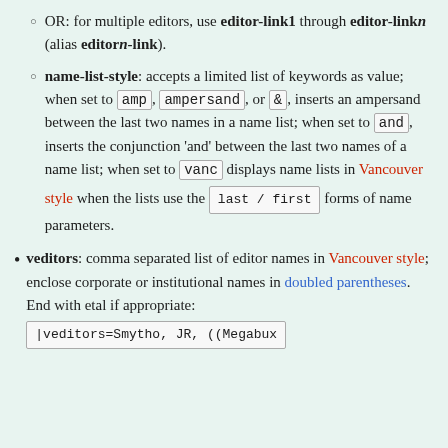OR: for multiple editors, use editor-link1 through editor-linkn (alias editorn-link).
name-list-style: accepts a limited list of keywords as value; when set to amp, ampersand, or &, inserts an ampersand between the last two names in a name list; when set to and, inserts the conjunction 'and' between the last two names of a name list; when set to vanc displays name lists in Vancouver style when the lists use the last / first forms of name parameters.
veditors: comma separated list of editor names in Vancouver style; enclose corporate or institutional names in doubled parentheses. End with etal if appropriate: |veditors=Smythe, JR, ((Megabux...